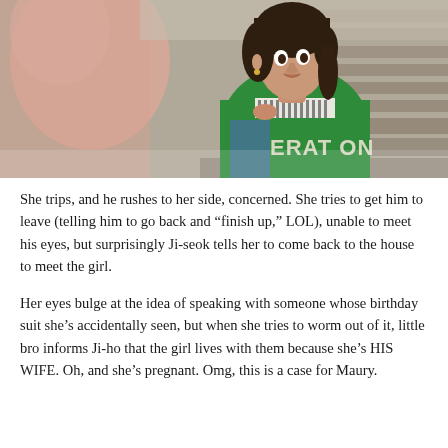[Figure (photo): A young East Asian woman in a green sweatshirt over a striped shirt looks surprised or alarmed while outdoors near stone steps. Another person in pink is partially visible on the left side.]
She trips, and he rushes to her side, concerned. She tries to get him to leave (telling him to go back and “finish up,” LOL), unable to meet his eyes, but surprisingly Ji-seok tells her to come back to the house to meet the girl.
Her eyes bulge at the idea of speaking with someone whose birthday suit she’s accidentally seen, but when she tries to worm out of it, little bro informs Ji-ho that the girl lives with them because she’s HIS WIFE. Oh, and she’s pregnant. Omg, this is a case for Maury.